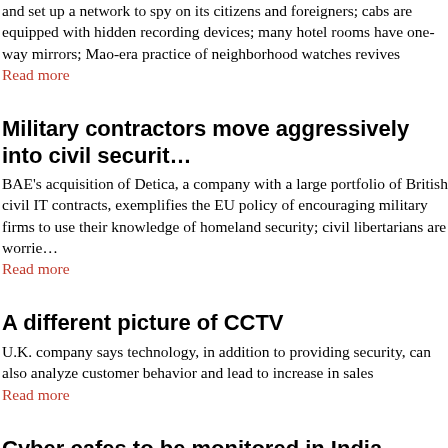and set up a network to spy on its citizens and foreigners; cabs are equipped with hidden recording devices; many hotel rooms have one-way mirrors; Mao-era practice of neighborhood watches revives
Read more
Military contractors move aggressively into civil security
BAE's acquisition of Detica, a company with a large portfolio of British civil IT contracts, exemplifies the EU policy of encouraging military firms to use their knowledge of homeland security; civil libertarians are worried
Read more
A different picture of CCTV
U.K. company says technology, in addition to providing security, can also analyze customer behavior and lead to increase in sales
Read more
Cyber cafes to be monitored in India
Indian police places biometric systems and CCTV in more than 150 cyber cafes to track criminals in the city